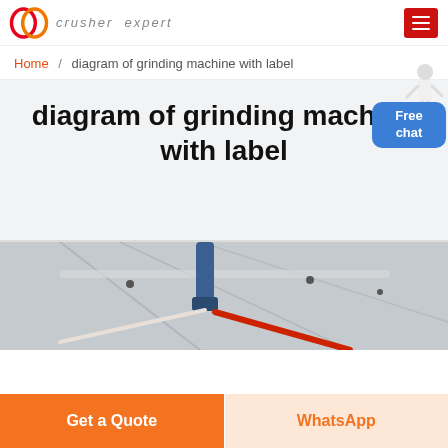crusher expert
Home / diagram of grinding machine with label
diagram of grinding machine with label
[Figure (photo): Industrial overhead view showing machinery components including a blue cylindrical part and red/white cables or pipes in a warehouse-like setting]
Get a Quote
WhatsApp